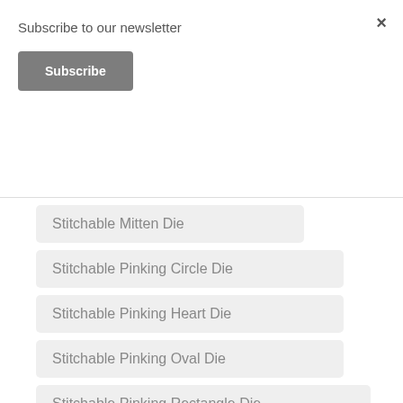Subscribe to our newsletter
Subscribe
×
Stitchable Mitten Die
Stitchable Pinking Circle Die
Stitchable Pinking Heart Die
Stitchable Pinking Oval Die
Stitchable Pinking Rectangle Die
Stitchable Pinking Shapes
Stitchable Pinking Square Die
Stitchable Squares Die